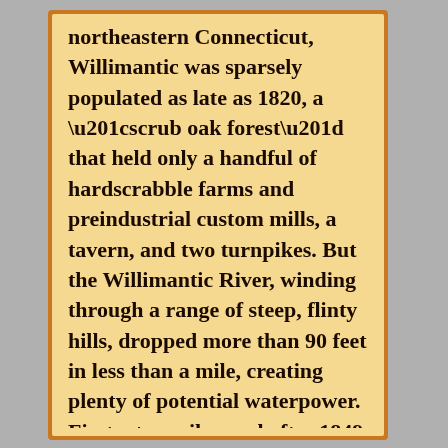northeastern Connecticut, Willimantic was sparsely populated as late as 1820, a “scrub oak forest” that held only a handful of hardscrabble farms and preindustrial custom mills, a tavern, and two turnpikes. But the Willimantic River, winding through a range of steep, flinty hills, dropped more than 90 feet in less than a mile, creating plenty of potential waterpower. First a turnpike, and after 1849 a railroad, connected the gorge to the port city of Norwich, only 15 miles away.